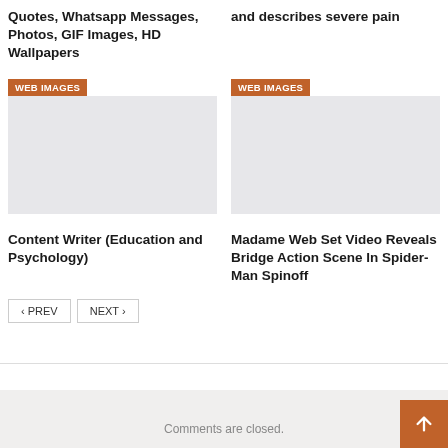Quotes, Whatsapp Messages, Photos, GIF Images, HD Wallpapers
and describes severe pain
[Figure (screenshot): Gray placeholder image with WEB IMAGES badge in orange-brown]
[Figure (screenshot): Gray placeholder image with WEB IMAGES badge in orange-brown]
Content Writer (Education and Psychology)
Madame Web Set Video Reveals Bridge Action Scene In Spider-Man Spinoff
‹ PREV   NEXT ›
Comments are closed.